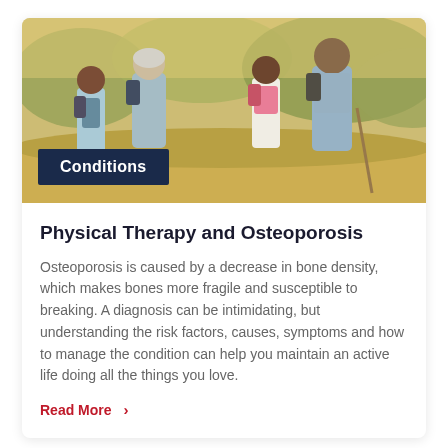[Figure (photo): Two grandparents hiking outdoors with two young grandchildren, all wearing backpacks, walking through a sunny natural landscape with bushes in the background.]
Physical Therapy and Osteoporosis
Osteoporosis is caused by a decrease in bone density, which makes bones more fragile and susceptible to breaking. A diagnosis can be intimidating, but understanding the risk factors, causes, symptoms and how to manage the condition can help you maintain an active life doing all the things you love.
Read More >